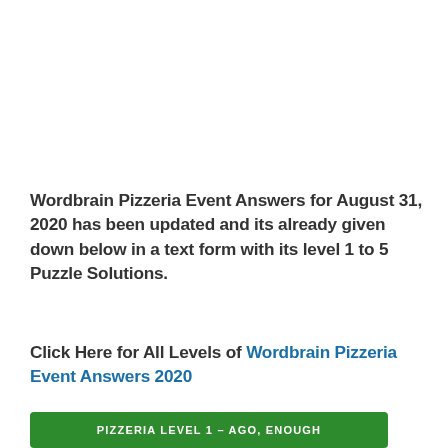Wordbrain Pizzeria Event Answers for August 31, 2020 has been updated and its already given down below in a text form with its level 1 to 5 Puzzle Solutions.
Click Here for All Levels of Wordbrain Pizzeria Event Answers 2020
PIZZERIA LEVEL 1 – AGO, ENOUGH